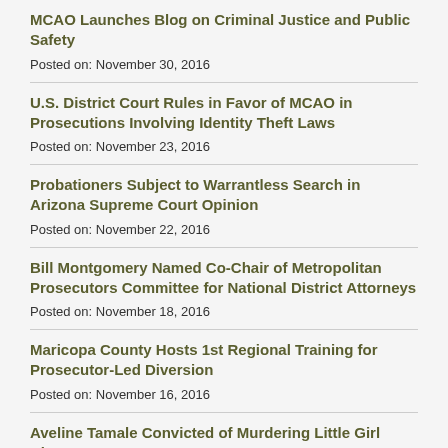MCAO Launches Blog on Criminal Justice and Public Safety
Posted on: November 30, 2016
U.S. District Court Rules in Favor of MCAO in Prosecutions Involving Identity Theft Laws
Posted on: November 23, 2016
Probationers Subject to Warrantless Search in Arizona Supreme Court Opinion
Posted on: November 22, 2016
Bill Montgomery Named Co-Chair of Metropolitan Prosecutors Committee for National District Attorneys
Posted on: November 18, 2016
Maricopa County Hosts 1st Regional Training for Prosecutor-Led Diversion
Posted on: November 16, 2016
Aveline Tamale Convicted of Murdering Little Girl Almost...